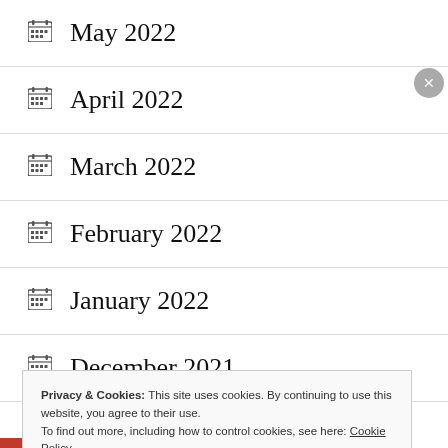May 2022
April 2022
March 2022
February 2022
January 2022
December 2021
Privacy & Cookies: This site uses cookies. By continuing to use this website, you agree to their use. To find out more, including how to control cookies, see here: Cookie Policy
Close and accept